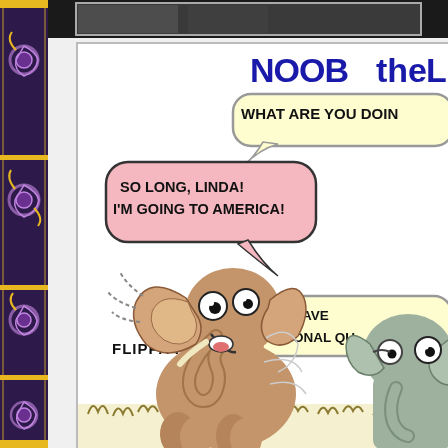[Figure (illustration): Decorative left border with purple/dark background and gold swirl/paisley patterns]
[Figure (illustration): Partially visible dark photo at the top of the main content area]
NOOBtheL
[Figure (illustration): Comic strip panel showing two cartoon elephants. The left elephant (brown, excited, ears flapping) says 'SO LONG, LINDA! I'M GOING TO AMERICA!' in a pink speech bubble, with 'FLIPPA FLIPPA' sound effect. The top right has a yellow speech bubble saying 'WHAT ARE YOU DOIN' and bottom right has another yellow bubble saying 'I NOW HAVE ADDITIONAL QU'. A second grey elephant is partially visible on the right.]